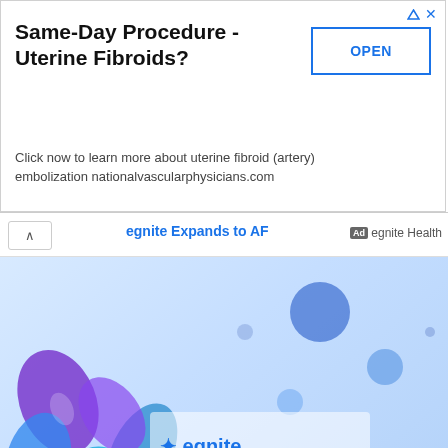[Figure (screenshot): Advertisement banner: Same-Day Procedure - Uterine Fibroids? with OPEN button and subtext about uterine fibroid artery embolization nationalvascularphysicians.com]
[Figure (screenshot): Egnite Health advertisement showing egnite logo with colorful crystal/molecular imagery and text 'egnite Expands to AF']
Leave a Reply
Your email address will not be published. Required fields are marked *
Comment